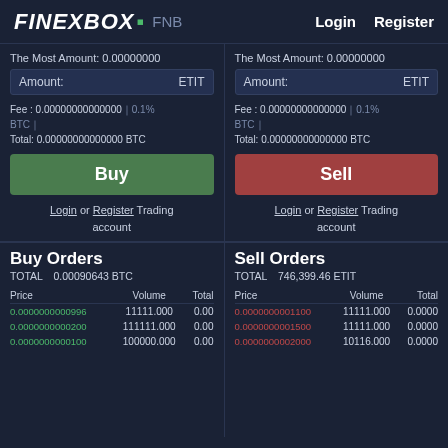FINEXBOX FNB  Login  Register
The Most Amount: 0.00000000
Amount: ETIT
Fee : 0.00000000000000 0.1% BTC  Total: 0.00000000000000 BTC
Buy
Login or Register Trading account
The Most Amount: 0.00000000
Amount: ETIT
Fee : 0.00000000000000 0.1% BTC  Total: 0.00000000000000 BTC
Sell
Login or Register Trading account
Buy Orders
TOTAL 0.00090643 BTC
| Price | Volume | Total |
| --- | --- | --- |
| 0.0000000000996 | 11111.000 | 0.00 |
| 0.0000000000200 | 111111.000 | 0.00 |
| 0.0000000000100 | 100000.000 | 0.00 |
Sell Orders
TOTAL 746,399.46 ETIT
| Price | Volume | Total |
| --- | --- | --- |
| 0.0000000001100 | 11111.000 | 0.0000 |
| 0.0000000001500 | 11111.000 | 0.0000 |
| 0.0000000002000 | 10116.000 | 0.0000 |